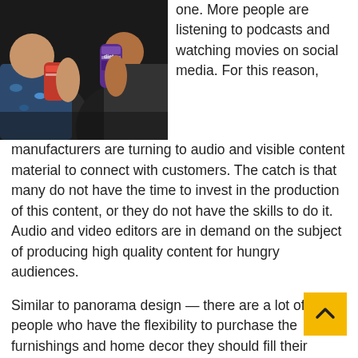[Figure (photo): Photo of people holding beverage cans at a social gathering or event.]
one. More people are listening to podcasts and watching movies on social media. For this reason, manufacturers are turning to audio and visible content material to connect with customers. The catch is that many do not have the time to invest in the production of this content, or they do not have the skills to do it. Audio and video editors are in demand on the subject of producing high quality content for hungry audiences.
Similar to panorama design — there are a lot of people who have the flexibility to purchase the furnishings and home decor they should fill their rooms, however few who know where to start. It might take some time to construct a portfolio but documenting your initiatives and sharing them on-line can build a fan base past your wildest desires.